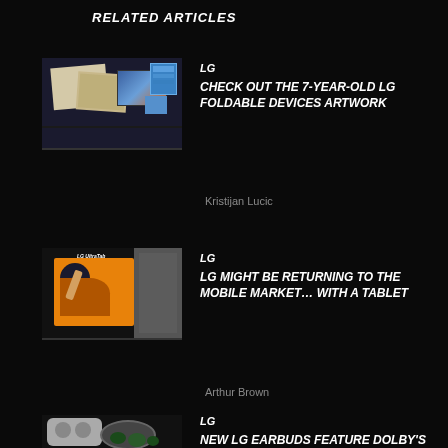RELATED ARTICLES
[Figure (photo): Sketch artwork of LG foldable devices with paper drawings and rendered screens]
LG
CHECK OUT THE 7-YEAR-OLD LG FOLDABLE DEVICES ARTWORK
Kristijan Lucic
[Figure (photo): LG UltraTab tablet with hand touching orange screen]
LG
LG MIGHT BE RETURNING TO THE MOBILE MARKET… WITH A TABLET
Arthur Brown
[Figure (photo): LG earbuds and charging cases in silver and green-black]
LG
NEW LG EARBUDS FEATURE DOLBY'S HEAD TRACKING TECHNOLOGY